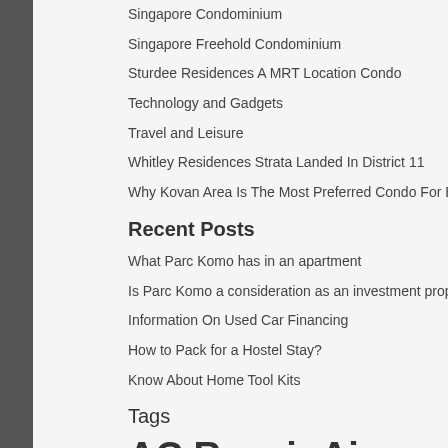Singapore Condominium
Singapore Freehold Condominium
Sturdee Residences A MRT Location Condo
Technology and Gadgets
Travel and Leisure
Whitley Residences Strata Landed In District 11
Why Kovan Area Is The Most Preferred Condo For Buyers
Recent Posts
What Parc Komo has in an apartment
Is Parc Komo a consideration as an investment property
Information On Used Car Financing
How to Pack for a Hostel Stay?
Know About Home Tool Kits
Tags
AC Repair Air Conditioning Repair